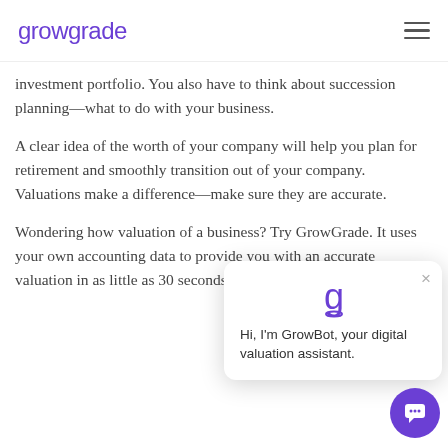growgrade
investment portfolio. You also have to think about succession planning—what to do with your business.
A clear idea of the worth of your company will help you plan for retirement and smoothly transition out of your company. Valuations make a difference—make sure they are accurate.
Wondering how valuation of a business? Try GrowGrade. It uses your own accounting data to provide you with an accurate valuation in as little as 30 seconds.
[Figure (screenshot): GrowBot chat popup with logo and message: Hi, I'm GrowBot, your digital valuation assistant. Close button (×) in top right. Purple chat bubble button in bottom right corner.]